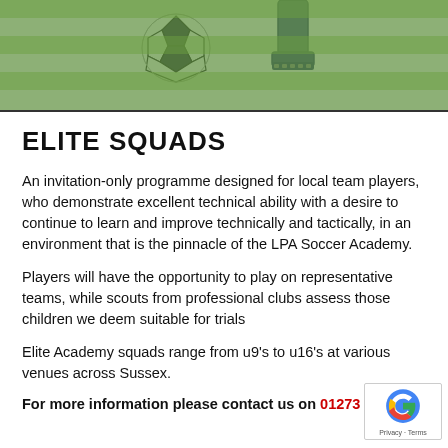[Figure (photo): Cropped photo of a soccer/football on green grass with a player's boot/cleat visible in the background]
ELITE SQUADS
An invitation-only programme designed for local team players, who demonstrate excellent technical ability with a desire to continue to learn and improve technically and tactically, in an environment that is the pinnacle of the LPA Soccer Academy.
Players will have the opportunity to play on representative teams, while scouts from professional clubs assess those children we deem suitable for trials
Elite Academy squads range from u9's to u16's at various venues across Sussex.
For more information please contact us on 01273